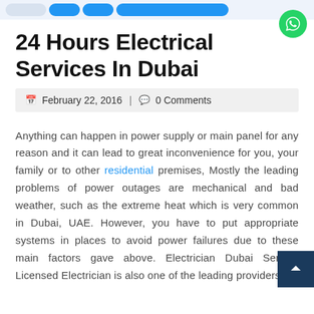[Navigation bar with buttons]
24 Hours Electrical Services In Dubai
February 22, 2016 | 0 Comments
Anything can happen in power supply or main panel for any reason and it can lead to great inconvenience for you, your family or to other residential premises, Mostly the leading problems of power outages are mechanical and bad weather, such as the extreme heat which is very common in Dubai, UAE. However, you have to put appropriate systems in places to avoid power failures due to these main factors gave above. Electrician Dubai Service Licensed Electrician is also one of the leading providers